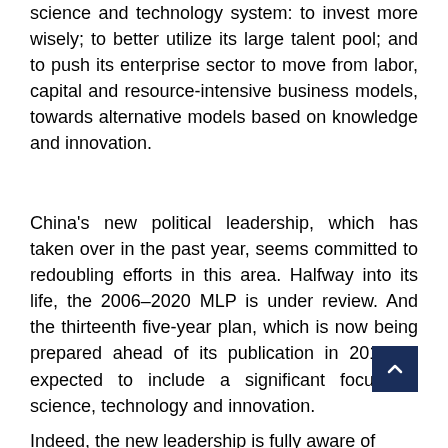science and technology system: to invest more wisely; to better utilize its large talent pool; and to push its enterprise sector to move from labor, capital and resource-intensive business models, towards alternative models based on knowledge and innovation.
China's new political leadership, which has taken over in the past year, seems committed to redoubling efforts in this area. Halfway into its life, the 2006–2020 MLP is under review. And the thirteenth five-year plan, which is now being prepared ahead of its publication in 2016, is expected to include a significant focus on science, technology and innovation.
Indeed, the new leadership is fully aware of